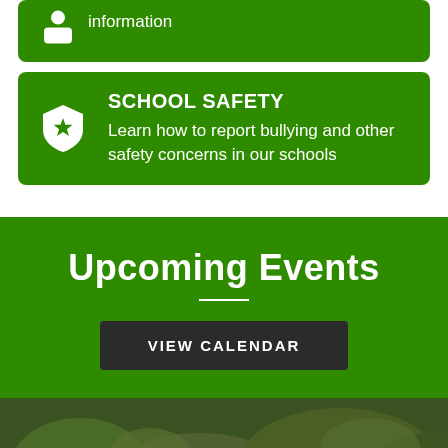information
SCHOOL SAFETY
Learn how to report bullying and other safety concerns in our schools
Upcoming Events
VIEW CALENDAR
[Figure (photo): Outdoor nature/tree photo at bottom of page with green overlay bars]